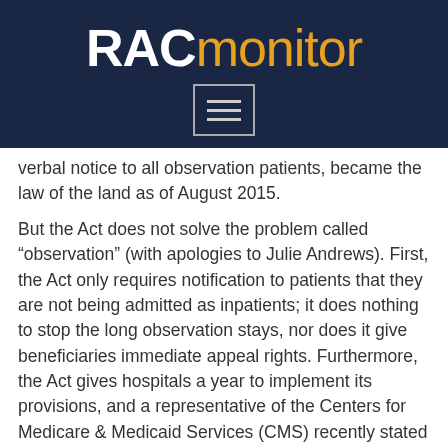RACmonitor
verbal notice to all observation patients, became the law of the land as of August 2015.
But the Act does not solve the problem called “observation” (with apologies to Julie Andrews). First, the Act only requires notification to patients that they are not being admitted as inpatients; it does nothing to stop the long observation stays, nor does it give beneficiaries immediate appeal rights. Furthermore, the Act gives hospitals a year to implement its provisions, and a representative of the Centers for Medicare & Medicaid Services (CMS) recently stated during an open door forum call that the agency will be developing a standardized form and instructions – so hospitals would be wise to not expend any effort on this until that happens.